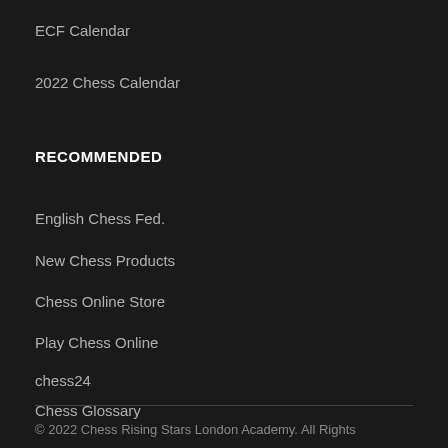ECF Calendar
2022 Chess Calendar
RECOMMENDED
English Chess Fed.
New Chess Products
Chess Online Store
Play Chess Online
chess24
Chess Glossary
© 2022 Chess Rising Stars London Academy. All Rights